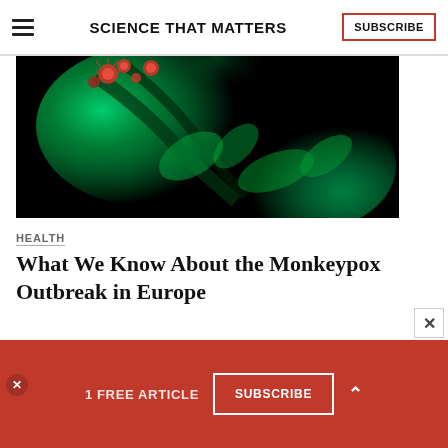SCIENCE THAT MATTERS
[Figure (photo): Close-up of monkeypox virus particles rendered with glowing green background and red/dark viral structures]
HEALTH
What We Know About the Monkeypox Outbreak in Europe
[Figure (other): Mattress Firm advertisement banner: 'Our best brands. Lowest prices, guaranteed.']
1 FREE ARTICLE
SUBSCRIBE